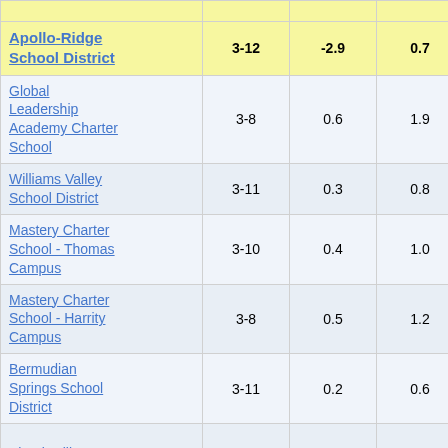| School/District | Grades | Col3 | Col4 | Score |
| --- | --- | --- | --- | --- |
| Apollo-Ridge School District | 3-12 | -2.9 | 0.7 | -4.04 |
| Global Leadership Academy Charter School | 3-8 | 0.6 | 1.9 | 0.31 |
| Williams Valley School District | 3-11 | 0.3 | 0.8 | 0.37 |
| Mastery Charter School - Thomas Campus | 3-10 | 0.4 | 1.0 | 0.38 |
| Mastery Charter School - Harrity Campus | 3-8 | 0.5 | 1.2 | 0.39 |
| Bermudian Springs School District | 3-11 | 0.2 | 0.6 | 0.41 |
| Shanksville-Stonycreek | 3-10 | 0.6 | 1.4 | 0.43 |